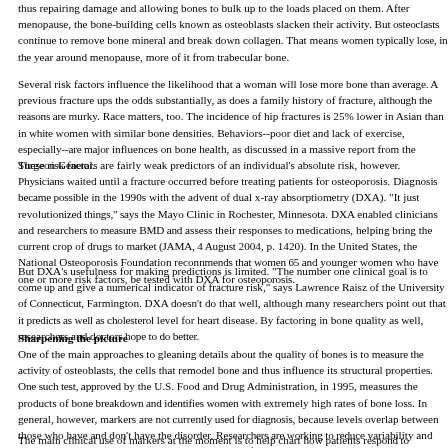thus repairing damage and allowing bones to bulk up to the loads placed on them. After menopause, the bone-building cells known as osteoblasts slacken their activity. But osteoclasts continue to remove bone mineral and break down collagen. That means women typically lose, in the year around menopause, more of it from trabecular bone.
Several risk factors influence the likelihood that a woman will lose more bone than average. A previous fracture ups the odds substantially, as does a family history of fracture, although the reasons are murky. Race matters, too. The incidence of hip fractures is 25% lower in Asian than in white women with similar bone densities. Behaviors--poor diet and lack of exercise, especially--are major influences on bone health, as discussed in a massive report from the Surgeon General.
These risk factors are fairly weak predictors of an individual's absolute risk, however. Physicians waited until a fracture occurred before treating patients for osteoporosis. Diagnosis became possible in the 1990s with the advent of dual x-ray absorptiometry (DXA). "It just revolutionized things," says the Mayo Clinic in Rochester, Minnesota. DXA enabled clinicians and researchers to measure BMD and assess their responses to medications, helping bring the current crop of drugs to market (JAMA, 4 August 2004, p. 1420). In the United States, the National Osteoporosis Foundation recommends that women 65 and younger women who have one or more risk factors, be tested with DXA for osteoporosis.
But DXA's usefulness for making predictions is limited. "The number one clinical goal is to come up and give a numerical indicator of fracture risk," says Lawrence Raisz of the University of Connecticut, Farmington. DXA doesn't do that well, although many researchers point out that it predicts as well as cholesterol level for heart disease. By factoring in bone quality as well, researchers and doctors hope to do better.
Sharpening the picture
One of the main approaches to gleaning details about the quality of bones is to measure the activity of osteoblasts, the cells that remodel bone and thus influence its structural properties. One such test, approved by the U.S. Food and Drug Administration, in 1995, measures the products of bone breakdown and identifies women with extremely high rates of bone loss. In general, however, markers are not currently used for diagnosis, because levels overlap between those who have and don't have the disorder. Researchers are working to reduce variability and investigating new markers that might be more specific.
The main clinical use of markers at the moment is to help chart how patients respond to treatment.